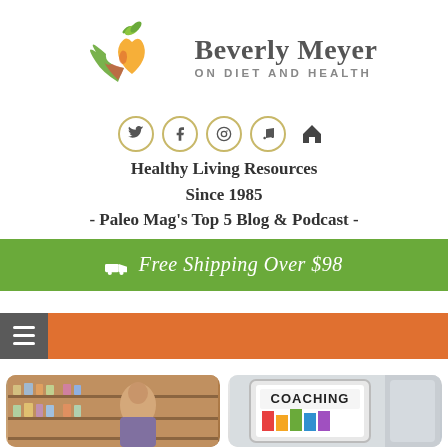[Figure (logo): Beverly Meyer On Diet And Health logo with two interlinked heart-shaped fruits (green apple and orange) with green leaves]
Beverly Meyer ON DIET AND HEALTH
[Figure (infographic): Social media icon row: Twitter, Facebook, Pinterest, Music/Podcast (circles with gold border), and Home icon]
Healthy Living Resources Since 1985 - Paleo Mag's Top 5 Blog & Podcast -
🚚 Free Shipping Over $98
[Figure (screenshot): Orange navigation bar with hamburger menu icon on dark grey background on left]
[Figure (photo): Person in a pharmacy/supplement store with shelves of bottles]
[Figure (photo): Coaching image on tablet/screen]